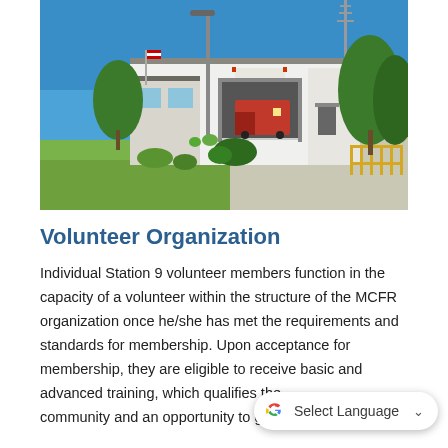[Figure (photo): Exterior photo of a fire station (Station 9) building, white structure with a garage bay door open showing a fire truck inside, tall light pole and communication tower visible, green lawn in foreground, blue sky background with trees on the right.]
Volunteer Organization
Individual Station 9 volunteer members function in the capacity of a volunteer within the structure of the MCFR organization once he/she has met the requirements and standards for membership. Upon acceptance for membership, they are eligible to receive basic and advanced training, which qualifies the community and an opportunity to gain valuable